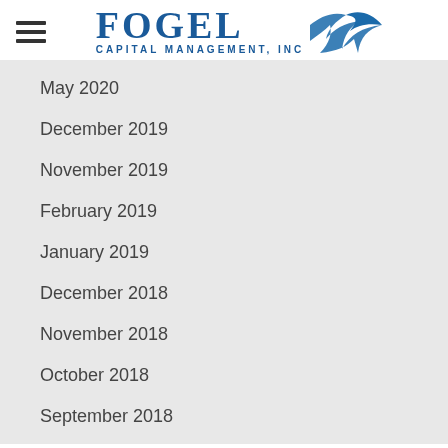[Figure (logo): Fogel Capital Management, Inc. logo with stylized bird/arrow graphic in blue]
May 2020
December 2019
November 2019
February 2019
January 2019
December 2018
November 2018
October 2018
September 2018
August 2018
July 2018
June 2018
May 2018
April 2018